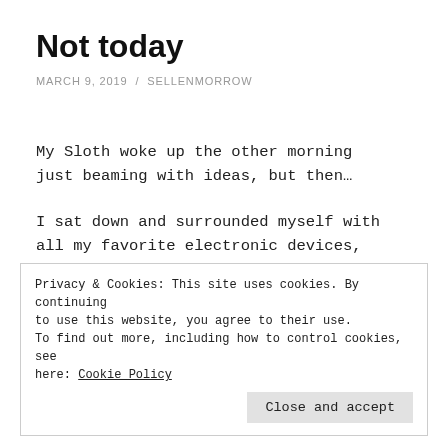Not today
MARCH 9, 2019 / SELLENMORROW
My Sloth woke up the other morning just beaming with ideas, but then…
I sat down and surrounded myself with all my favorite electronic devices, you know, iPhone in one hand, iPad in
Privacy & Cookies: This site uses cookies. By continuing to use this website, you agree to their use.
To find out more, including how to control cookies, see here: Cookie Policy

Close and accept